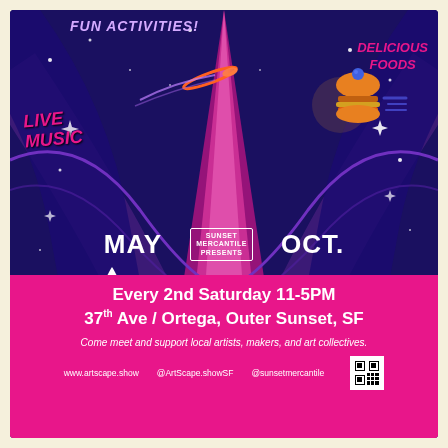[Figure (illustration): Space-themed event poster with cosmic purple/indigo background, swirling curves, pink spotlight beam, stars, shooting comet, decorative food illustration (burger/pie), and rocket ship logo. Text overlays include event name ArtScape, dates May/Oct, schedule, and contact info.]
ArtScape
Fun Activities!
Live Music
Delicious Foods
May  Sunset Mercantile Presents  Oct.
Every 2nd Saturday 11-5PM
37th Ave / Ortega, Outer Sunset, SF
Come meet and support local artists, makers, and art collectives.
www.artscape.show   @ArtScape.showSF   @sunsetmercantile